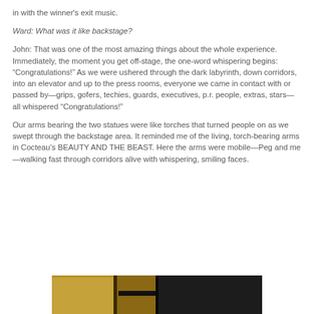in with the winner's exit music.
Ward: What was it like backstage?
John: That was one of the most amazing things about the whole experience. Immediately, the moment you get off-stage, the one-word whispering begins: “Congratulations!” As we were ushered through the dark labyrinth, down corridors, into an elevator and up to the press rooms, everyone we came in contact with or passed by—grips, gofers, techies, guards, executives, p.r. people, extras, stars—all whispered “Congratulations!”
Our arms bearing the two statues were like torches that turned people on as we swept through the backstage area. It reminded me of the living, torch-bearing arms in Cocteau’s BEAUTY AND THE BEAST. Here the arms were mobile—Peg and me—walking fast through corridors alive with whispering, smiling faces.
[Figure (photo): A dark backstage or corridor scene with warm golden and brown tones, showing what appears to be architectural elements or fixtures.]